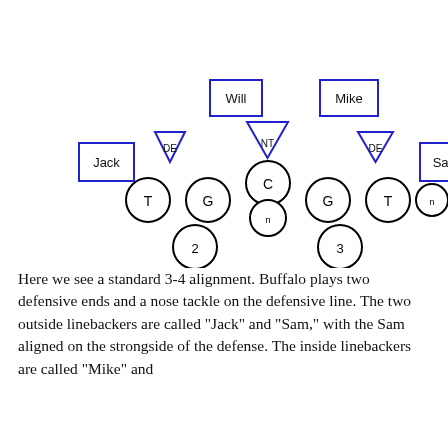[Figure (schematic): Football formation diagram showing a 3-4 defensive alignment. Blue squares label Jack, Will, Mike, Sam linebackers. Blue downward triangles label DE (two) and NT (one). Circles label offensive line positions: T, G, C (stacked with another circle below), G, T, and a tight end circle. Two additional circles below labeled 2 and 3 represent backs.]
Here we see a standard 3-4 alignment. Buffalo plays two defensive ends and a nose tackle on the defensive line. The two outside linebackers are called "Jack" and "Sam," with the Sam aligned on the strongside of the defense. The inside linebackers are called "Mike" and